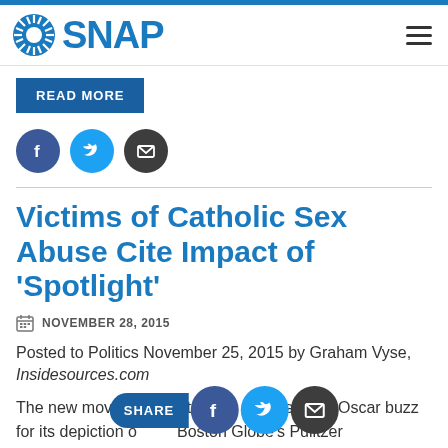SNAP
READ MORE
Victims of Catholic Sex Abuse Cite Impact of ‘Spotlight’
NOVEMBER 28, 2015
Posted to Politics November 25, 2015 by Graham Vyse, Insidesources.com
The new movie Spotlight is generating Oscar buzz for its depiction of the Boston Globe’s Pulitzer Prizewinning investigation into sexual abuse in the